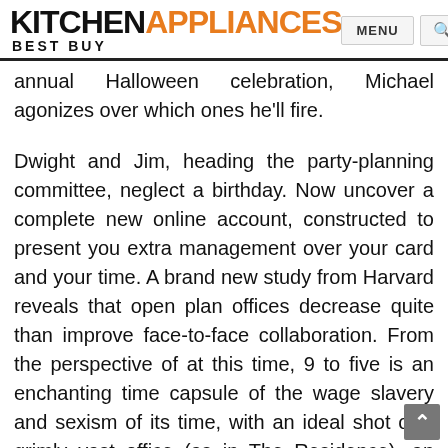KITCHEN APPLIANCES BEST BUY
annual Halloween celebration, Michael agonizes over which ones he'll fire.
Dwight and Jim, heading the party-planning committee, neglect a birthday. Now uncover a complete new online account, constructed to present you extra management over your card and your time. A brand new study from Harvard reveals that open plan offices decrease quite than improve face-to-face collaboration. From the perspective of at this time, 9 to five is an enchanting time capsule of the wage slavery and sexism of its time, with an ideal shot of a grimly vast office (as in The Residence), an enormous Xerox collating machine, and hulking, buzzing IBM golfball